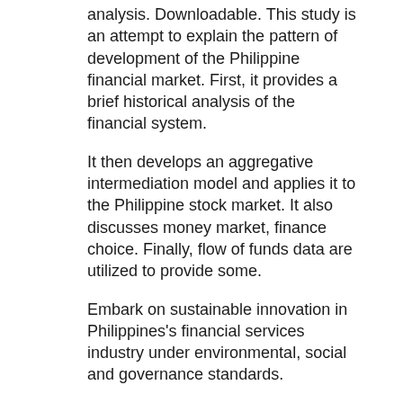analysis. Downloadable. This study is an attempt to explain the pattern of development of the Philippine financial market. First, it provides a brief historical analysis of the financial system.
It then develops an aggregative intermediation model and applies it to the Philippine stock market. It also discusses money market, finance choice. Finally, flow of funds data are utilized to provide some.
Embark on sustainable innovation in Philippines's financial services industry under environmental, social and governance standards.
Discuss green bonds, digital financing and Regtech with the leaders and innovators in the Philippines and beyond. Thursday, 10 OctoberPhilippines. The financial Industry in the Philippines is very much improving recently and that is because of the innovative financial companies operating in the country.
If you are looking for some good financial services Philippines providers, this list will give you some of the best financial services providers in the...